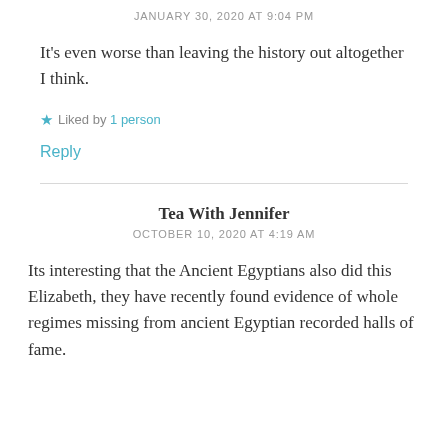JANUARY 30, 2020 AT 9:04 PM
It's even worse than leaving the history out altogether I think.
★ Liked by 1 person
Reply
Tea With Jennifer
OCTOBER 10, 2020 AT 4:19 AM
Its interesting that the Ancient Egyptians also did this Elizabeth, they have recently found evidence of whole regimes missing from ancient Egyptian recorded halls of fame.